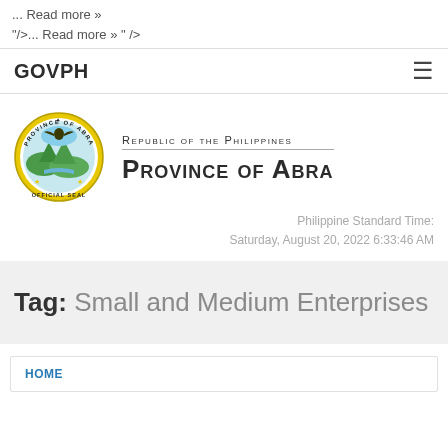... Read more »
"/>... Read more » " />
GOVPH
[Figure (logo): Official Seal of the Province of Abra, Philippines — circular yellow seal with imagery]
Republic of the Philippines Province of Abra
Philippine Standard Time:
Saturday, August 20, 2022 6:33:46 AM
Tag: Small and Medium Enterprises
HOME